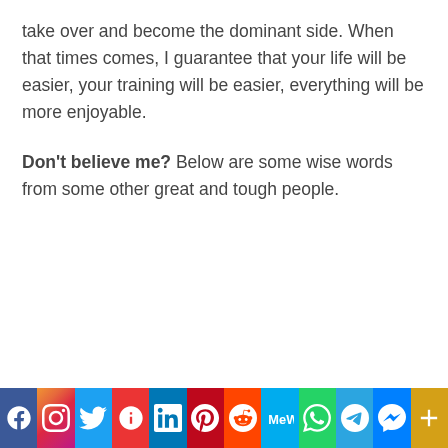take over and become the dominant side. When that times comes, I guarantee that your life will be easier, your training will be easier, everything will be more enjoyable.
Don't believe me? Below are some wise words from some other great and tough people.
[Figure (other): Social media sharing bar with icons for Facebook, Instagram, Twitter, Parler, LinkedIn, Pinterest, Reddit, MeWe, WhatsApp, Telegram, Messenger, and More]